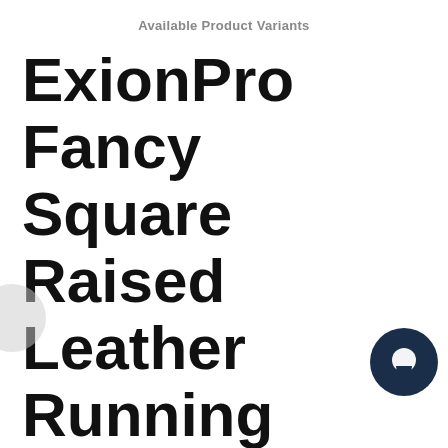Available Product Variants
ExionPro Fancy Square Raised Leather Running Martingale
Running Martingale Is Best To Control The Sensitive Horses To Keep Head In Correct Position.
Designer Fancy Stitched & Square Raised on Running Martingale gives Elegant looks on Horse.
Smoothly Finished With Special Polish & Lacquered On